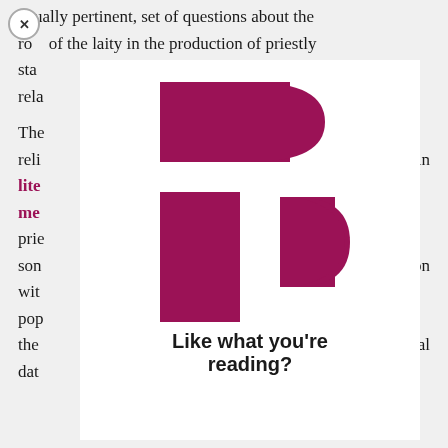equally pertinent, set of questions about the role of the laity in the production of priestly sta... rela... The... reli... lite me... prie... son... wit... pop... the... al dat...
[Figure (logo): JSTOR logo rendered as stylized letter P in dark magenta/crimson, consisting of a rounded rectangle on top and a vertical bar with a D-shape on the lower portion]
Like what you're reading?